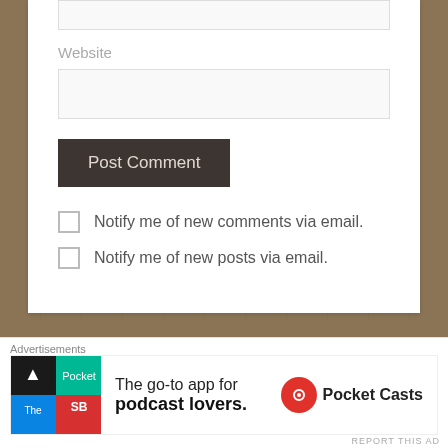[Figure (screenshot): Partial website form showing a text input field at top]
Website
[Figure (screenshot): Website input text field]
Post Comment
Notify me of new comments via email.
Notify me of new posts via email.
Google Translate!
[Figure (screenshot): Select Language dropdown widget]
Advertisements
[Figure (screenshot): Pocket Casts advertisement banner: The go-to app for podcast lovers.]